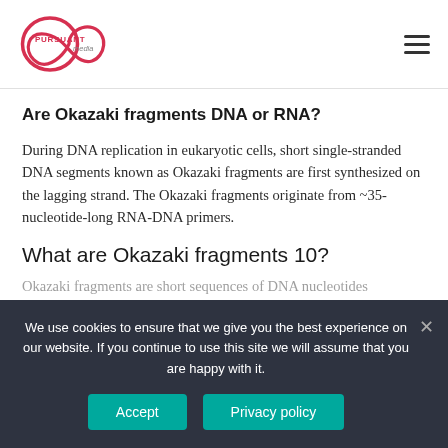Pursuant Media [logo] | hamburger menu
Are Okazaki fragments DNA or RNA?
During DNA replication in eukaryotic cells, short single-stranded DNA segments known as Okazaki fragments are first synthesized on the lagging strand. The Okazaki fragments originate from ~35-nucleotide-long RNA-DNA primers.
What are Okazaki fragments 10?
[partial text obscured by cookie banner]
We use cookies to ensure that we give you the best experience on our website. If you continue to use this site we will assume that you are happy with it.